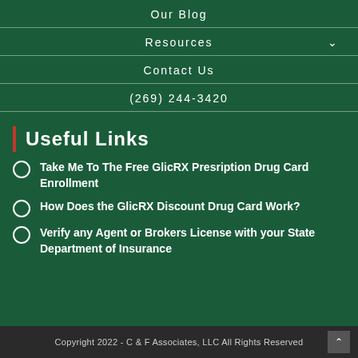Our Blog
Resources
Contact Us
(269) 244-3420
Useful Links
Take Me To The Free GlicRX Presription Drug Card Enrollment
How Does the GlicRX Discount Drug Card Work?
Verify any Agent or Brokers License with your State Department of Insurance
Copyright 2022 - C & F Associates, LLC All Rights Reserved